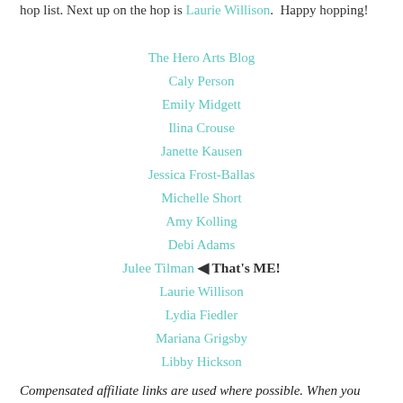hop list. Next up on the hop is Laurie Willison.  Happy hopping!
The Hero Arts Blog
Caly Person
Emily Midgett
Ilina Crouse
Janette Kausen
Jessica Frost-Ballas
Michelle Short
Amy Kolling
Debi Adams
Julee Tilman ◀ That's ME!
Laurie Willison
Lydia Fiedler
Mariana Grigsby
Libby Hickson
Compensated affiliate links are used where possible. When you place an order after clicking one of my links, I receive a small commission at no additional cost to you.  Thanks so